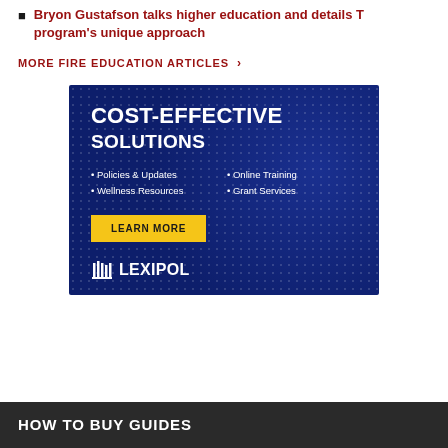Bryon Gustafson talks higher education and details T program's unique approach
MORE FIRE EDUCATION ARTICLES >
[Figure (infographic): Lexipol advertisement: dark blue dotted background with text 'COST-EFFECTIVE SOLUTIONS', bullet points listing Policies & Updates, Wellness Resources, Online Training, Grant Services, a yellow 'LEARN MORE' button, and the Lexipol logo at the bottom.]
HOW TO BUY GUIDES